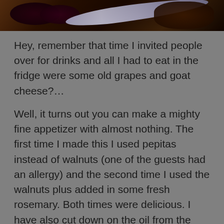[Figure (photo): Close-up photo of food — appears to show dark berries or grapes with a decorative spoon and cheese on a wooden surface, partially visible at top of page.]
Hey, remember that time I invited people over for drinks and all I had to eat in the fridge were some old grapes and goat cheese?…
Well, it turns out you can make a mighty fine appetizer with almost nothing. The first time I made this I used pepitas instead of walnuts (one of the guests had an allergy) and the second time I used the walnuts plus added in some fresh rosemary. Both times were delicious. I have also cut down on the oil from the original recipe. significantly. And for the drizzling olive oil over the goat cheese, feel free to use flavoured oil if you have it. I used Persian lime olive oil and it was delicious. Next time I'm thinking a pinch of hot chili